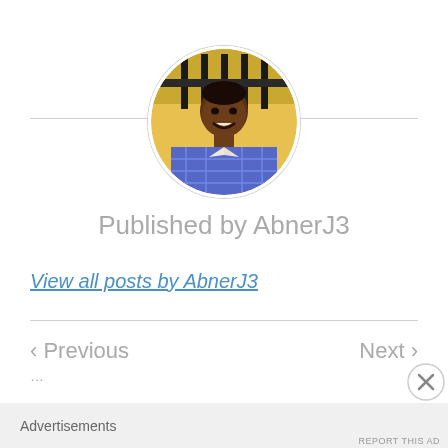[Figure (photo): Circular profile photo of a young man wearing a blue/purple checkered shirt, smiling, with a yellow wall and dark metal fence visible in the background.]
Published by AbnerJ3
View all posts by AbnerJ3
< Previous
Next >
Advertisements